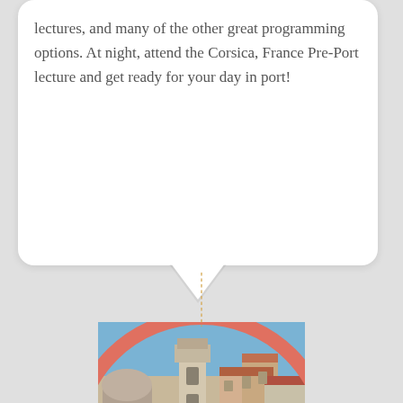lectures, and many of the other great programming options. At night, attend the Corsica, France Pre-Port lecture and get ready for your day in port!
[Figure (photo): Circular photo with coral/salmon colored border showing a Mediterranean coastal town with a bell tower, colorful buildings and a blue sky. A dashed orange vertical line connects the speech bubble to the circular photo.]